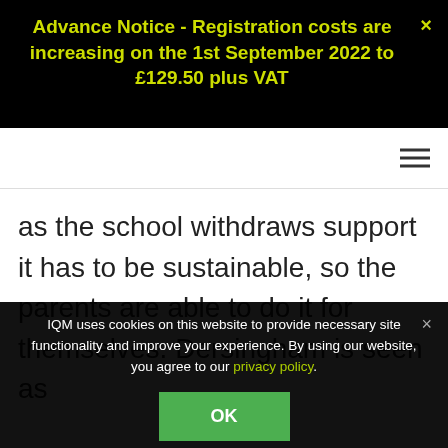Advance Notice - Registration costs are increasing on the 1st September 2022 to £129.50 plus VAT
as the school withdraws support it has to be sustainable, so the parents are able to do it for themselves. Dersingham is seen as
IQM uses cookies on this website to provide necessary site functionality and improve your experience. By using our website, you agree to our privacy policy.